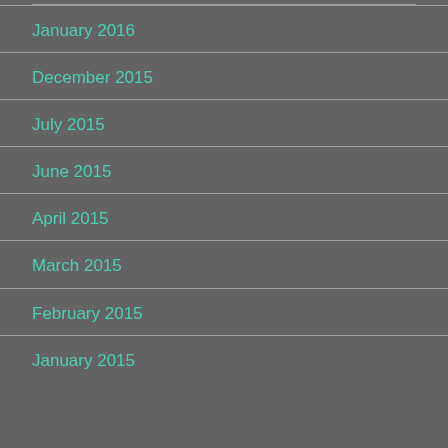January 2016
December 2015
July 2015
June 2015
April 2015
March 2015
February 2015
January 2015